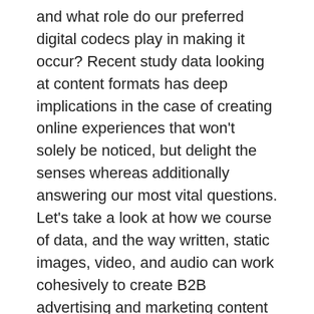and what role do our preferred digital codecs play in making it occur? Recent study data looking at content formats has deep implications in the case of creating online experiences that won't solely be noticed, but delight the senses whereas additionally answering our most vital questions. Let's take a look at how we course of data, and the way written, static images, video, and audio can work cohesively to create B2B advertising and marketing content material that elevates with hope and delights with hyper-related solutions delivered at the correct time. Understanding the human mind, with its exquisitely complex computational and filtering mechanisms, can go a good distance towards learning the forms of content material that may carry out the perfect in B2B marketing. Content that passes these preliminary filters in our brains then begins a second section, the place greater focus is given to information.